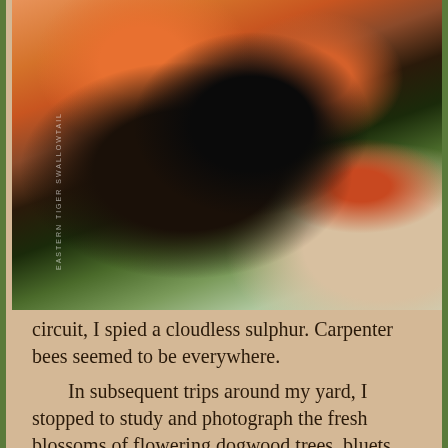[Figure (photo): Close-up photograph of a black Eastern Tiger Swallowtail butterfly feeding on orange/red flowers on a tree branch, with blurred green and grey background. A watermark reads 'EASTERN TIGER SWALLOWTAIL'.]
circuit, I spied a cloudless sulphur. Carpenter bees seemed to be everywhere.
In subsequent trips around my yard, I stopped to study and photograph the fresh blossoms of flowering dogwood trees, bluets, and a native thistle.
Throughout my brief time afield, I was treated with the soothing songs of chipping sparrows and pine warblers singing from the tops our tall loblolly